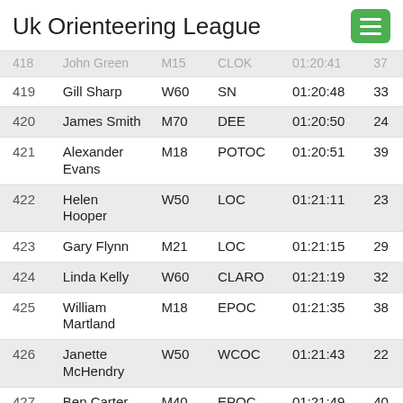Uk Orienteering League
| # | Name | Class | Club | Time | Pts |
| --- | --- | --- | --- | --- | --- |
| 418 | John Green | M15 | CLOK | 01:20:41 | 37 |
| 419 | Gill Sharp | W60 | SN | 01:20:48 | 33 |
| 420 | James Smith | M70 | DEE | 01:20:50 | 24 |
| 421 | Alexander Evans | M18 | POTOC | 01:20:51 | 39 |
| 422 | Helen Hooper | W50 | LOC | 01:21:11 | 23 |
| 423 | Gary Flynn | M21 | LOC | 01:21:15 | 29 |
| 424 | Linda Kelly | W60 | CLARO | 01:21:19 | 32 |
| 425 | William Martland | M18 | EPOC | 01:21:35 | 38 |
| 426 | Janette McHendry | W50 | WCOC | 01:21:43 | 22 |
| 427 | Ben Carter | M40 | EPOC | 01:21:49 | 40 |